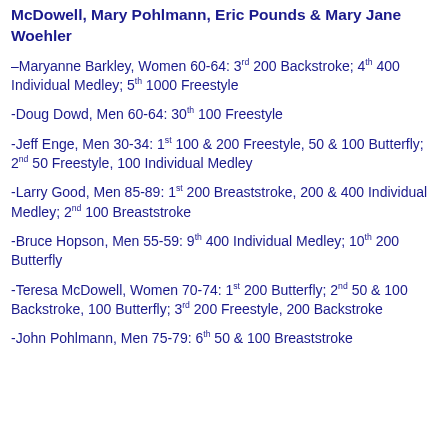McDowell, Mary Pohlmann, Eric Pounds & Mary Jane Woehler
–Maryanne Barkley, Women 60-64: 3rd 200 Backstroke; 4th 400 Individual Medley; 5th 1000 Freestyle
-Doug Dowd, Men 60-64: 30th 100 Freestyle
-Jeff Enge, Men 30-34: 1st 100 & 200 Freestyle, 50 & 100 Butterfly; 2nd 50 Freestyle, 100 Individual Medley
-Larry Good, Men 85-89: 1st 200 Breaststroke, 200 & 400 Individual Medley; 2nd 100 Breaststroke
-Bruce Hopson, Men 55-59: 9th 400 Individual Medley; 10th 200 Butterfly
-Teresa McDowell, Women 70-74: 1st 200 Butterfly; 2nd 50 & 100 Backstroke, 100 Butterfly; 3rd 200 Freestyle, 200 Backstroke
-John Pohlmann, Men 75-79: 6th 50 & 100 Breaststroke